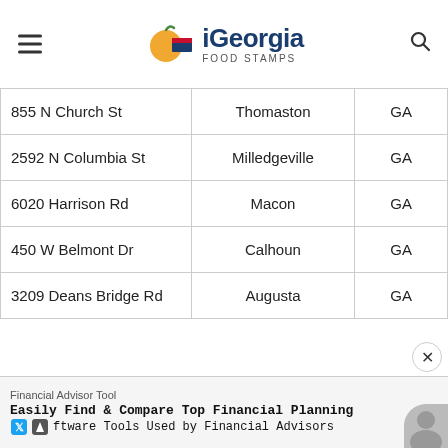iGeorgia Food Stamps
| Address | City | State |
| --- | --- | --- |
| 855 N Church St | Thomaston | GA |
| 2592 N Columbia St | Milledgeville | GA |
| 6020 Harrison Rd | Macon | GA |
| 450 W Belmont Dr | Calhoun | GA |
| 3209 Deans Bridge Rd | Augusta | GA |
Financial Advisor Tool
Easily Find & Compare Top Financial Planning Software Tools Used by Financial Advisors